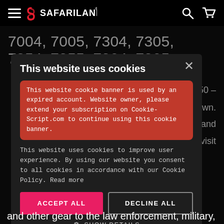[Figure (screenshot): Safariland website header with hamburger menu, Safariland logo, search icon, and cart icon on black background]
7004, 7005, 7304, 7305, 7354, 7355, 7384, 7385
$49.50 – FDE Brown. holsters and ase visit
[Figure (screenshot): Cookie consent modal dialog on Safariland website with expired account warning in red box, cookie policy text, Accept All and Decline All buttons, and Show Details option]
and other gear to the law enforcement, military,